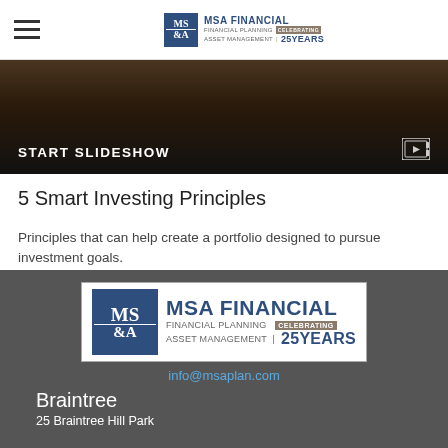MSA FINANCIAL - Financial Planning Asset Management - Celebrating 25 Years
[Figure (screenshot): Dark slideshow banner with text START SLIDESHOW and a play/slideshow icon on the right]
5 Smart Investing Principles
Principles that can help create a portfolio designed to pursue investment goals.
MSA FINANCIAL logo | info@msaplan.com | Braintree | 25 Braintree Hill Park